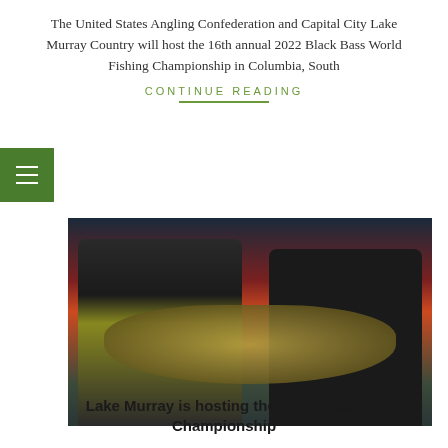The United States Angling Confederation and Capital City Lake Murray Country will host the 16th annual 2022 Black Bass World Fishing Championship in Columbia, South
CONTINUE READING
[Figure (photo): Two anglers smiling and holding up bass fish in front of a red tournament backdrop]
Lake Murray is hosting the World Bass Championship